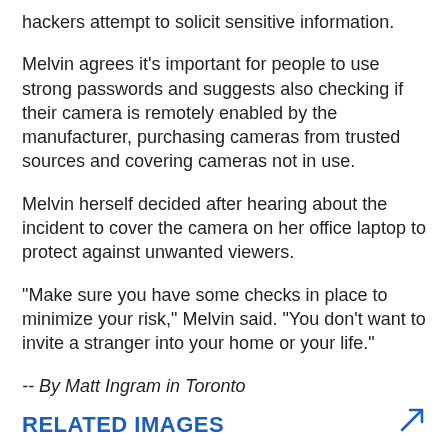hackers attempt to solicit sensitive information.
Melvin agrees it's important for people to use strong passwords and suggests also checking if their camera is remotely enabled by the manufacturer, purchasing cameras from trusted sources and covering cameras not in use.
Melvin herself decided after hearing about the incident to cover the camera on her office laptop to protect against unwanted viewers.
"Make sure you have some checks in place to minimize your risk," Melvin said. "You don't want to invite a stranger into your home or your life."
-- By Matt Ingram in Toronto
RELATED IMAGES